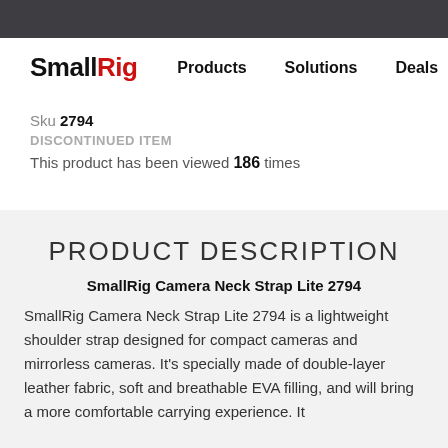SmallRig — Products   Solutions   Deals
Sku 2794
DISCONTINUED ITEM
This product has been viewed 186 times
PRODUCT DESCRIPTION
SmallRig Camera Neck Strap Lite 2794
SmallRig Camera Neck Strap Lite 2794 is a lightweight shoulder strap designed for compact cameras and mirrorless cameras. It's specially made of double-layer leather fabric, soft and breathable EVA filling, and will bring a more comfortable carrying experience. It